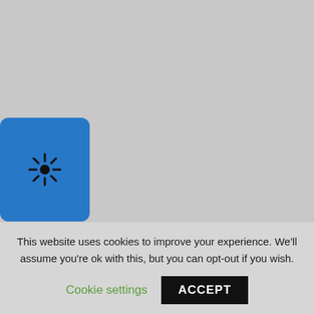[Figure (illustration): Blue rounded rectangle button with a sun/crosshair icon in the upper-left area of the page]
Request More Information
Atlas Components, Inc.
4055 S Perryville Rd.
Cherry Valley, IL 61016
This website uses cookies to improve your experience. We'll assume you're ok with this, but you can opt-out if you wish.
Cookie settings
ACCEPT